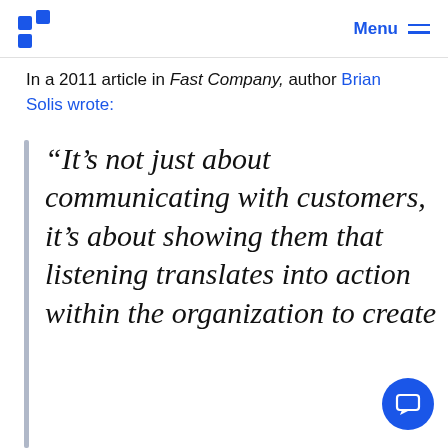Menu
In a 2011 article in Fast Company, author Brian Solis wrote:
“It’s not just about communicating with customers, it’s about showing them that listening translates into action within the organization to create